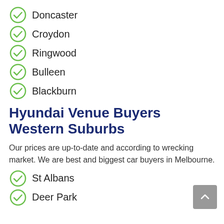Doncaster
Croydon
Ringwood
Bulleen
Blackburn
Hyundai Venue Buyers Western Suburbs
Our prices are up-to-date and according to wrecking market. We are best and biggest car buyers in Melbourne.
St Albans
Deer Park